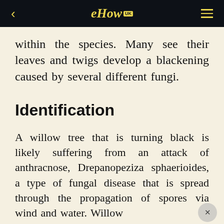eHow UK
within the species. Many see their leaves and twigs develop a blackening caused by several different fungi.
Identification
A willow tree that is turning black is likely suffering from an attack of anthracnose, Drepanopeziza sphaerioides, a type of fungal disease that is spread through the propagation of spores via wind and water. Willow...